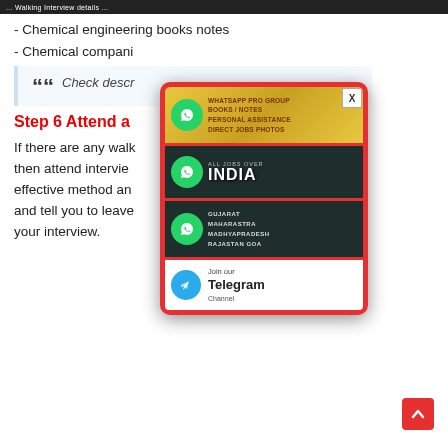... Walking Interview details ...
- Chemical engineering books notes
- Chemical companies ...
Check descr...
Step 6 Attend a...
If there are any walk... nearby you then attend intervie... It is less effective method an... accept CV and tell you to leave... may take your interview.
[Figure (infographic): Popup advertisement with WhatsApp and Telegram group links. Contains: WhatsApp Pro Group banner (golden background), All Jobs Over India WhatsApp group banner (dark background), Gujarat Maharashtra Madhyapradesh Rajastan Goa WhatsApp group banner (dark background), Join our Telegram Channel button (white background). Has a close button (X) at the top right.]